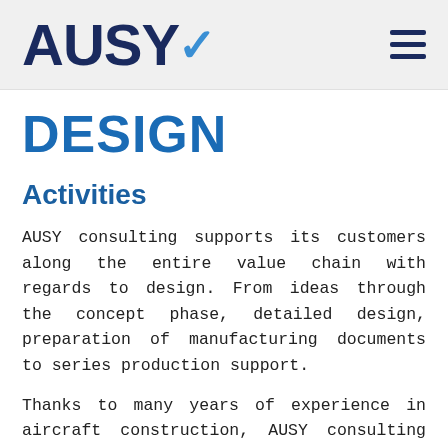[Figure (logo): AUSY company logo with dark navy text and blue checkmark accent, plus hamburger menu icon on the right]
DESIGN
Activities
AUSY consulting supports its customers along the entire value chain with regards to design. From ideas through the concept phase, detailed design, preparation of manufacturing documents to series production support.
Thanks to many years of experience in aircraft construction, AUSY consulting is used to the very highest quality standards in development and